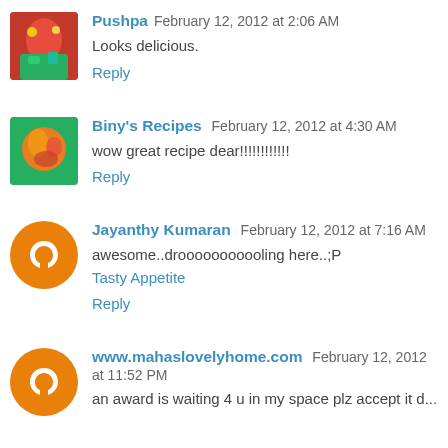Pushpa February 12, 2012 at 2:06 AM
Looks delicious.
Reply
Biny's Recipes February 12, 2012 at 4:30 AM
wow great recipe dear!!!!!!!!!!!
Reply
Jayanthy Kumaran February 12, 2012 at 7:16 AM
awesome..drooooooooooling here..;P
Tasty Appetite
Reply
www.mahaslovelyhome.com February 12, 2012 at 11:52 PM
an award is waiting 4 u in my space plz accept it d...